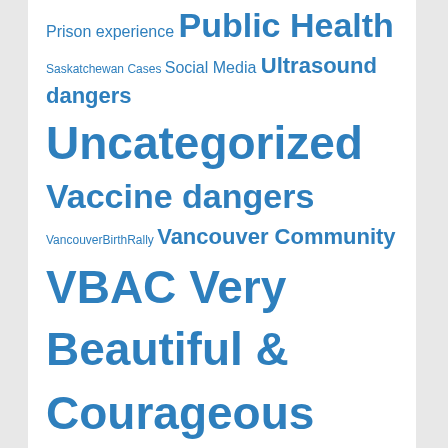Prison experience Public Health Saskatchewan Cases Social Media Ultrasound dangers Uncategorized Vaccine dangers VancouverBirthRally Vancouver Community VBAC Very Beautiful & Courageous Videos Waterbirth wizIQ
PAGES
About
Birth Film
Online Birth Doula Education
Online Midwifery Education
Online Postpartum Doula Education
GET SOCIAL WITH GLO